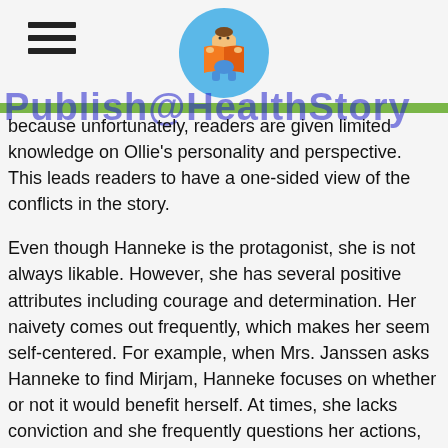Page header with hamburger menu icon and reading logo
because unfortunately, readers are given limited knowledge on Ollie's personality and perspective. This leads readers to have a one-sided view of the conflicts in the story.
Even though Hanneke is the protagonist, she is not always likable. However, she has several positive attributes including courage and determination. Her naivety comes out frequently, which makes her seem self-centered. For example, when Mrs. Janssen asks Hanneke to find Mirjam, Hanneke focuses on whether or not it would benefit herself. At times, she lacks conviction and she frequently questions her actions, which may frustrate readers. She asks people involved in the war resistance dumb questions too, then becomes angry with herself because she had previously shielded herself from the horrors of the war.